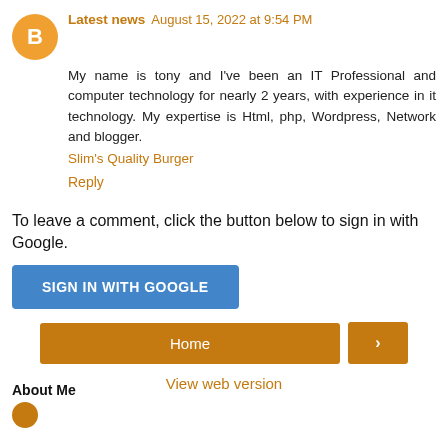Latest news  August 15, 2022 at 9:54 PM
My name is tony and I've been an IT Professional and computer technology for nearly 2 years, with experience in it technology. My expertise is Html, php, Wordpress, Network and blogger.
Slim's Quality Burger
Reply
To leave a comment, click the button below to sign in with Google.
SIGN IN WITH GOOGLE
Home
›
View web version
About Me